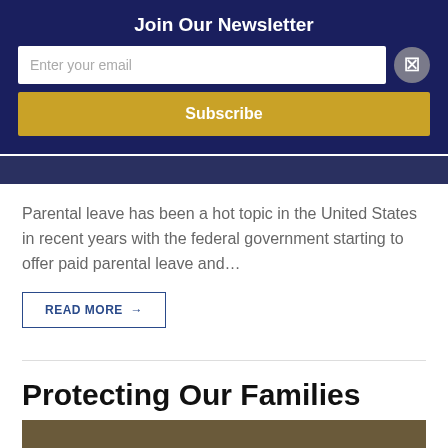Join Our Newsletter
Enter your email
Subscribe
Parental leave has been a hot topic in the United States in recent years with the federal government starting to offer paid parental leave and…
READ MORE →
Protecting Our Families
STACIAROBINSON2   APRIL 12, 2018
BENECHOICE COMPANIES